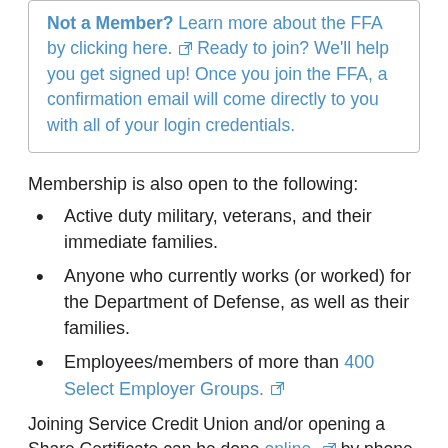Not a Member? Learn more about the FFA by clicking here. Ready to join? We'll help you get signed up! Once you join the FFA, a confirmation email will come directly to you with all of your login credentials.
Membership is also open to the following:
Active duty military, veterans, and their immediate families.
Anyone who currently works (or worked) for the Department of Defense, as well as their families.
Employees/members of more than 400 Select Employer Groups.
Joining Service Credit Union and/or opening a Share Certificate can be done online, by phone (800.936.7730), or at any of 36 New Hampshire branches, which are located in Amherst, Bedford, Berlin, Concord, Derry, Durham, Epping, Exeter, Franklin, Gorham, Hampton, Hinsdale, Hudson, Keene (2), Laconia, Lancaster, Lebanon (2), Manchester, Nashua